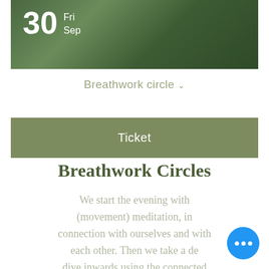[Figure (photo): Hero image showing a person in red pants outdoors in a green natural setting, with date overlay showing 30 Fri Sep]
Breathwork circle ∨
Ticket
Breathwork Circles
We start the evening with (movement) meditation, in connection with ourselves and with each other. Then we take a deep dive inwards using the connected